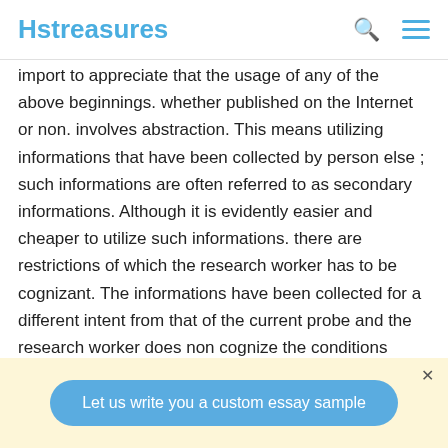Hstreasures
import to appreciate that the usage of any of the above beginnings. whether published on the Internet or non. involves abstraction. This means utilizing informations that have been collected by person else ; such informations are often referred to as secondary informations. Although it is evidently easier and cheaper to utilize such informations. there are restrictions of which the research worker has to be cognizant. The informations have been collected for a different intent from that of the current probe and the research worker does non cognize the conditions under which the informations were collected. The definitions used may be different from those
Let us write you a custom essay sample